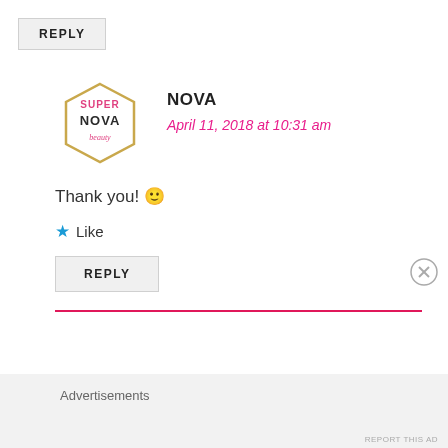REPLY
[Figure (logo): Super Nova Beauty hexagonal logo with gold outline, pink and pink-text branding]
NOVA
April 11, 2018 at 10:31 am
Thank you! 🙂
★ Like
REPLY
Advertisements
REPORT THIS AD